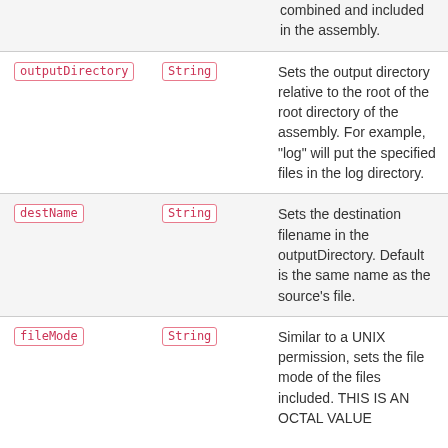| Attribute | Type | Description |
| --- | --- | --- |
|  |  | combined and included in the assembly. |
| outputDirectory | String | Sets the output directory relative to the root of the root directory of the assembly. For example, "log" will put the specified files in the log directory. |
| destName | String | Sets the destination filename in the outputDirectory. Default is the same name as the source's file. |
| fileMode | String | Similar to a UNIX permission, sets the file mode of the files included. THIS IS AN OCTAL VALUE... |